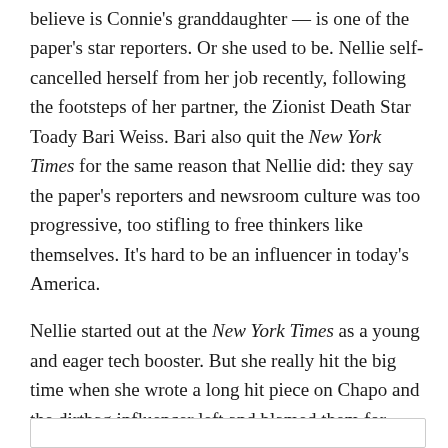believe is Connie's granddaughter — is one of the paper's star reporters. Or she used to be. Nellie self-cancelled herself from her job recently, following the footsteps of her partner, the Zionist Death Star Toady Bari Weiss. Bari also quit the New York Times for the same reason that Nellie did: they say the paper's reporters and newsroom culture was too progressive, too stifling to free thinkers like themselves. It's hard to be an influencer in today's America.
Nellie started out at the New York Times as a young and eager tech booster. But she really hit the big time when she wrote a long hit piece on Chapo and the dirtbag influencer left and blamed them for America's problems and for inciting the youth to violence against the system.